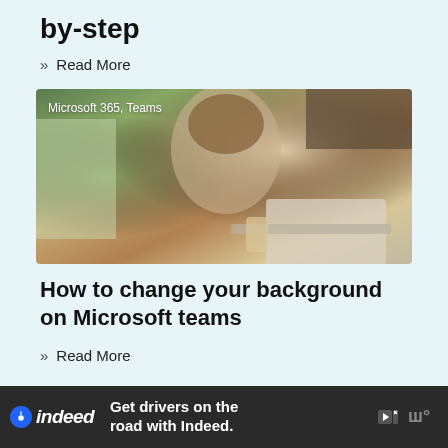by-step
» Read More
[Figure (photo): Woman with glasses working on a laptop at a home desk with a glass of milk. Overlay text reads: Microsoft 365, Teams]
How to change your background on Microsoft teams
» Read More
[Figure (infographic): Advertisement banner: indeed logo with text 'Get drivers on the road with Indeed.' Dark background with play/close controls and brand mark.]